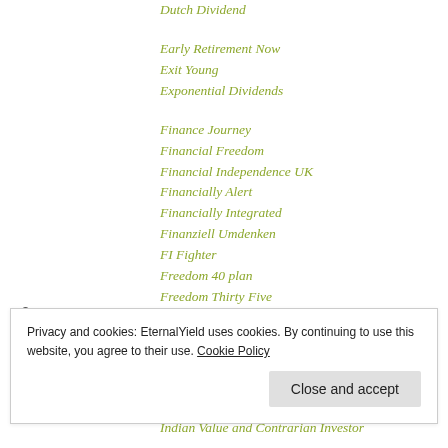Dutch Dividend
Early Retirement Now
Exit Young
Exponential Dividends
Finance Journey
Financial Freedom
Financial Independence UK
Financially Alert
Financially Integrated
Finanziell Umdenken
FI Fighter
Freedom 40 plan
Freedom Thirty Five
Physician on Fire
Privacy and cookies: EternalYield uses cookies. By continuing to use this website, you agree to their use. Cookie Policy
Indian Value and Contrarian Investor